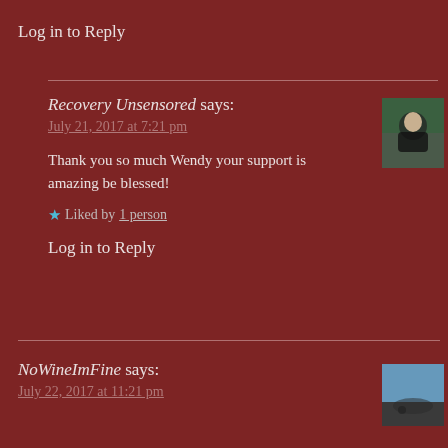Log in to Reply
Recovery Unsensored says:
July 21, 2017 at 7:21 pm
Thank you so much Wendy your support is amazing be blessed!
★ Liked by 1 person
Log in to Reply
NoWineImFine says:
July 22, 2017 at 11:21 pm